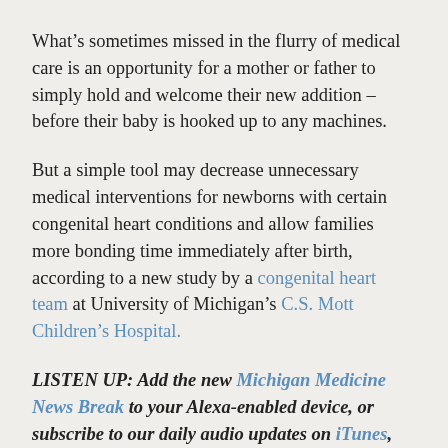What’s sometimes missed in the flurry of medical care is an opportunity for a mother or father to simply hold and welcome their new addition – before their baby is hooked up to any machines.
But a simple tool may decrease unnecessary medical interventions for newborns with certain congenital heart conditions and allow families more bonding time immediately after birth, according to a new study by a congenital heart team at University of Michigan’s C.S. Mott Children’s Hospital.
LISTEN UP: Add the new Michigan Medicine News Break to your Alexa-enabled device, or subscribe to our daily audio updates on iTunes, Google Play and Stitcher.